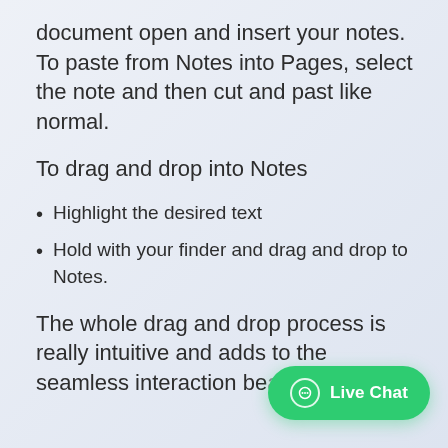document open and insert your notes. To paste from Notes into Pages, select the note and then cut and past like normal.
To drag and drop into Notes
Highlight the desired text
Hold with your finder and drag and drop to Notes.
The whole drag and drop process is really intuitive and adds to the seamless interaction be... apps.